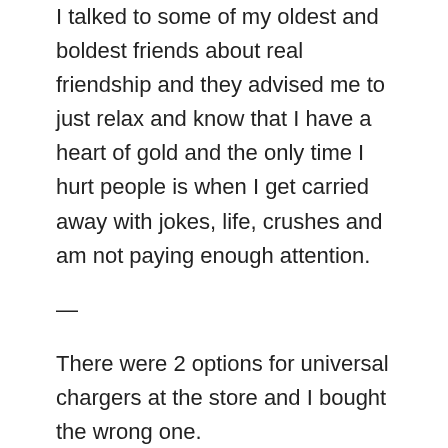I talked to some of my oldest and boldest friends about real friendship and they advised me to just relax and know that I have a heart of gold and the only time I hurt people is when I get carried away with jokes, life, crushes and am not paying enough attention.
—
There were 2 options for universal chargers at the store and I bought the wrong one.
But a nice guy sitting next to me, also on the airport floor charging his laptop, lent me his charger.